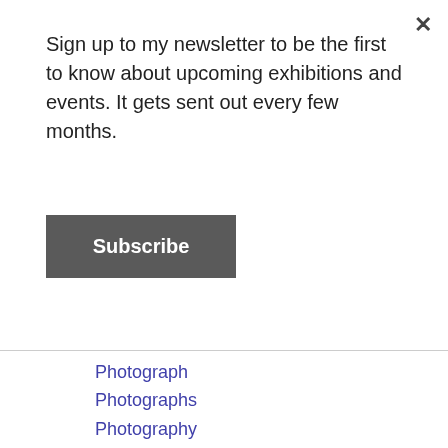Sign up to my newsletter to be the first to know about upcoming exhibitions and events. It gets sent out every few months.
Subscribe
Photograph
Photographs
Photography
Photos
Pinterest
Plants
Poem
Poems
Poetry
Poolewe
Poolewe Market
Poolewe Tuesday Market
Portfolio
Portsoy